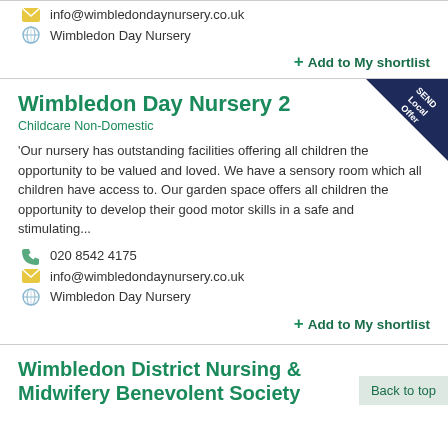info@wimbledondaynursery.co.uk
Wimbledon Day Nursery
+ Add to My shortlist
Wimbledon Day Nursery 2
Childcare Non-Domestic
'Our nursery has outstanding facilities offering all children the opportunity to be valued and loved. We have a sensory room which all children have access to. Our garden space offers all children the opportunity to develop their good motor skills in a safe and stimulating...
020 8542 4175
info@wimbledondaynursery.co.uk
Wimbledon Day Nursery
+ Add to My shortlist
Wimbledon District Nursing & Midwifery Benevolent Society